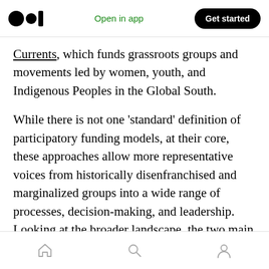Medium app header with logo, Open in app, Get started button
Currents, which funds grassroots groups and movements led by women, youth, and Indigenous Peoples in the Global South.
While there is not one ‘standard’ definition of participatory funding models, at their core, these approaches allow more representative voices from historically disenfranchised and marginalized groups into a wide range of processes, decision-making, and leadership. Looking at the broader landscape, the two main types of funders include smaller, grassroots
Home, Search, Profile navigation icons